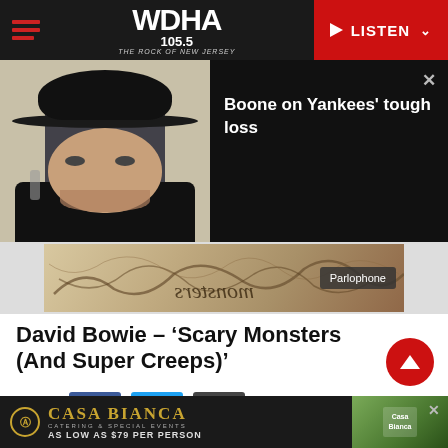WDHA 105.5 The Rock of New Jersey — LISTEN
[Figure (screenshot): Video thumbnail showing a man in a black cap seated in a chair, with overlay text panel reading 'Boone on Yankees' tough loss']
[Figure (photo): David Bowie 'Scary Monsters (And Super Creeps)' album cover — handwritten/sketch style artwork with 'Parlophone' label badge overlay]
David Bowie – ‘Scary Monsters (And Super Creeps)’
Share
Released September 12, 1980,
[Figure (infographic): Casa Bianca Catering & Special Events advertisement banner — 'AS LOW AS $79 PER PERSON' with photo of venue signage]